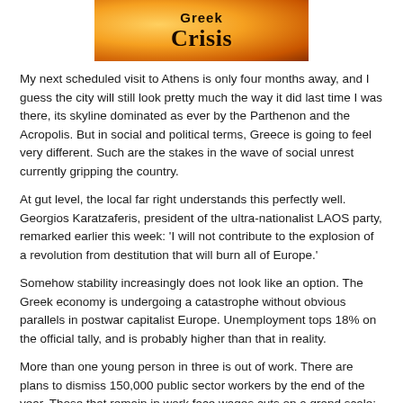[Figure (illustration): Book cover image with orange flame background showing title text 'Greek Crisis' in dark bold lettering]
My next scheduled visit to Athens is only four months away, and I guess the city will still look pretty much the way it did last time I was there, its skyline dominated as ever by the Parthenon and the Acropolis. But in social and political terms, Greece is going to feel very different. Such are the stakes in the wave of social unrest currently gripping the country.
At gut level, the local far right understands this perfectly well. Georgios Karatzaferis, president of the ultra-nationalist LAOS party, remarked earlier this week: 'I will not contribute to the explosion of a revolution from destitution that will burn all of Europe.'
Somehow stability increasingly does not look like an option. The Greek economy is undergoing a catastrophe without obvious parallels in postwar capitalist Europe. Unemployment tops 18% on the official tally, and is probably higher than that in reality.
More than one young person in three is out of work. There are plans to dismiss 150,000 public sector workers by the end of the year. Those that remain in work face wages cuts on a grand scale; the minimum